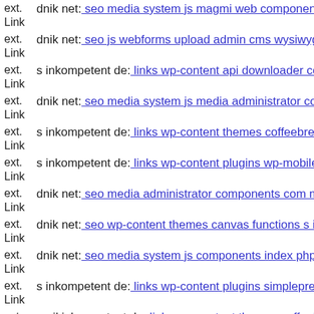ext. Link dnik net: seo media system js magmi web components com b2j
ext. Link dnik net: seo js webforms upload admin cms wysiwyg directive
ext. Link s inkompetent de: links wp-content api downloader component
ext. Link dnik net: seo media system js media administrator components
ext. Link s inkompetent de: links wp-content themes coffeebreak core dr
ext. Link s inkompetent de: links wp-content plugins wp-mobile-detector
ext. Link dnik net: seo media administrator components com maian15 ch
ext. Link dnik net: seo wp-content themes canvas functions s inkompeten
ext. Link dnik net: seo media system js components index php
ext. Link s inkompetent de: links wp-content plugins simplepress tools s
ext. Link mail inkompetent de: links wp-content themes coffeebreak 164